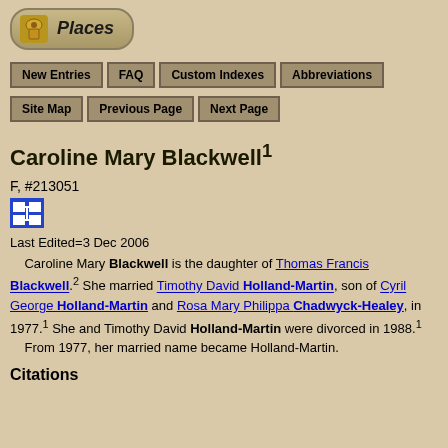[Figure (logo): Places logo with icon]
New Entries | FAQ | Custom Indexes | Abbreviations | Site Map | Previous Page | Next Page
Caroline Mary Blackwell1
F, #213051
[Figure (other): Pedigree chart icon (blue square with chart symbol)]
Last Edited=3 Dec 2006
Caroline Mary Blackwell is the daughter of Thomas Francis Blackwell.2 She married Timothy David Holland-Martin, son of Cyril George Holland-Martin and Rosa Mary Philippa Chadwyck-Healey, in 1977.1 She and Timothy David Holland-Martin were divorced in 1988.1
	From 1977, her married name became Holland-Martin.
Citations